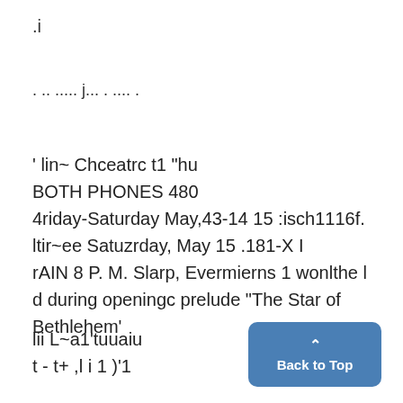.i
. .. ..... j... . .... .
' lin~ Chceatrc t1 "hu
BOTH PHONES 480
4riday-Saturday May,43-14 15 :isch1116f.
ltir~ee Satuzrday, May 15 .181-X I
rAIN 8 P. M. Slarp, Evermierns 1 wonlthe l
d during openingc prelude "The Star of
Bethlehem'
lii L~a1'tuuaiu
t - t+ ,l i 1 )'1
Back to Top